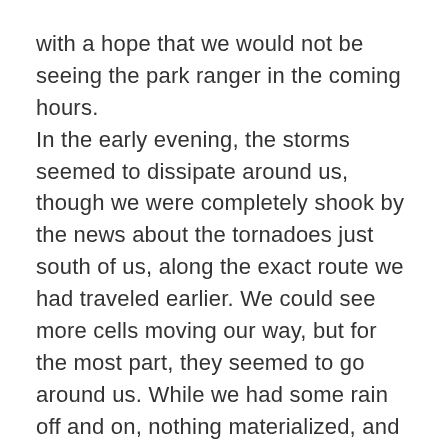with a hope that we would not be seeing the park ranger in the coming hours.
In the early evening, the storms seemed to dissipate around us, though we were completely shook by the news about the tornadoes just south of us, along the exact route we had traveled earlier. We could see more cells moving our way, but for the most part, they seemed to go around us. While we had some rain off and on, nothing materialized, and we actually saw the sun peek out before setting.
The following morning, we woke up to beautiful, cloudless blue skies. When Will entered the information into our family calendar after